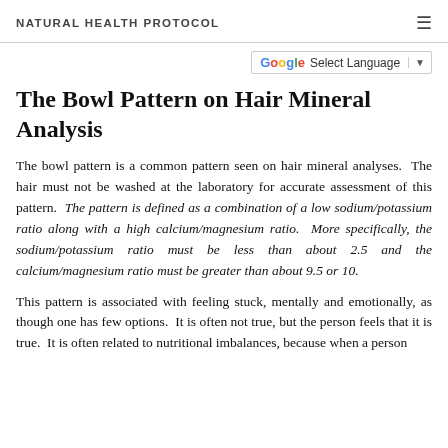NATURAL HEALTH PROTOCOL
The Bowl Pattern on Hair Mineral Analysis
The bowl pattern is a common pattern seen on hair mineral analyses. The hair must not be washed at the laboratory for accurate assessment of this pattern. The pattern is defined as a combination of a low sodium/potassium ratio along with a high calcium/magnesium ratio. More specifically, the sodium/potassium ratio must be less than about 2.5 and the calcium/magnesium ratio must be greater than about 9.5 or 10.
This pattern is associated with feeling stuck, mentally and emotionally, as though one has few options. It is often not true, but the person feels that it is true. It is often related to nutritional imbalances, because when a person